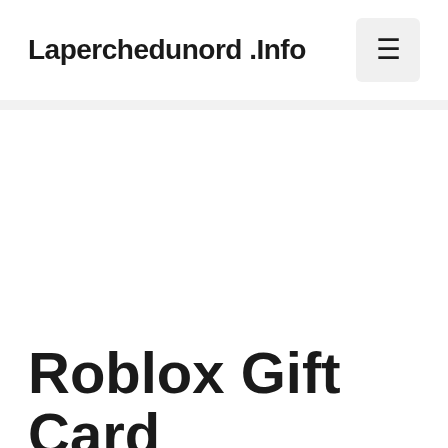Laperchedunord .Info
Roblox Gift Card Mo...